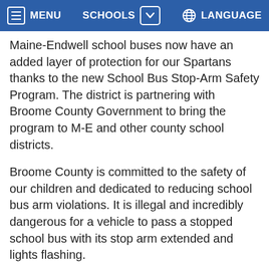MENU   SCHOOLS   LANGUAGE
Maine-Endwell school buses now have an added layer of protection for our Spartans thanks to the new School Bus Stop-Arm Safety Program. The district is partnering with Broome County Government to bring the program to M-E and other county school districts.
Broome County is committed to the safety of our children and dedicated to reducing school bus arm violations. It is illegal and incredibly dangerous for a vehicle to pass a stopped school bus with its stop arm extended and lights flashing.
The School Bus Stop-Arm Safety Program equips Broome County's school bus fleets with state-of-the-art stop-arm safety technology including stop-arm cameras, DVR and storage